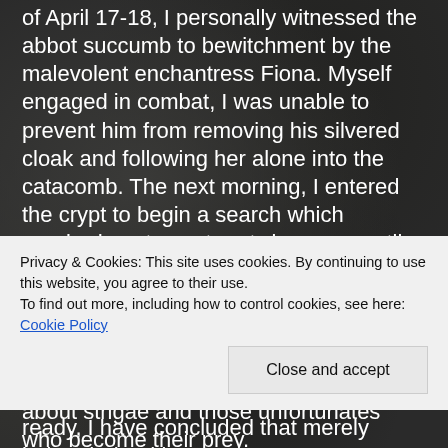of April 17-18, I personally witnessed the abbot succumb to bewitchment by the malevolent enchantress Fiona. Myself engaged in combat, I was unable to prevent him from removing his silvered cloak and following her alone into the catacomb. The next morning, I entered the crypt to begin a search which required me to venture twice more until, on the third day, I finally recovered the abbot's exsanguinated corpse about 1000 meters into the main tunnel. And here, if your Eminence permits, I'd like to add to our growing body of knowledge about strigae and those unfortunates who become their prey.
Privacy & Cookies: This site uses cookies. By continuing to use this website, you agree to their use.
To find out more, including how to control cookies, see here: Cookie Policy
Close and accept
ready, I have concluded that merely being drained by